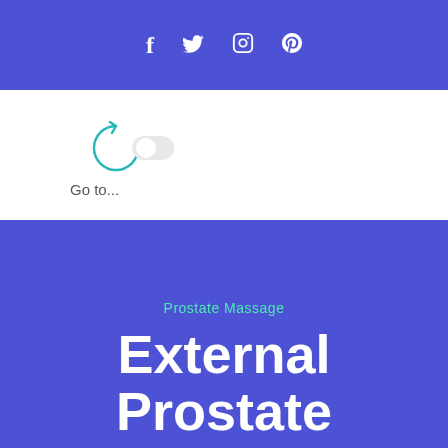f  ✦  𝕡
[Figure (other): Loading spinner icon (circular arrow) followed by a toggle/pill shape, teal/cyan color]
Go to...
Prostate Massage
External Prostate